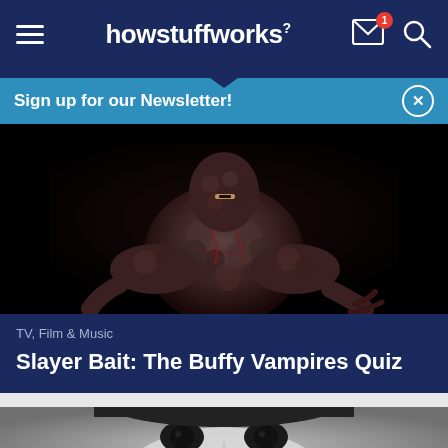howstuffworks
Sign up for our Newsletter!
[Figure (photo): A grotesque humanoid monster creature with dark textured lumpy skin, red veins, claws, and a partially open mouth against a black background]
TV, Film & Music
Slayer Bait: The Buffy Vampires Quiz
[Figure (photo): Close-up of a person's face from the eyes up, with pale skin and dark eyes, in black and white/greyscale, against a grey background]